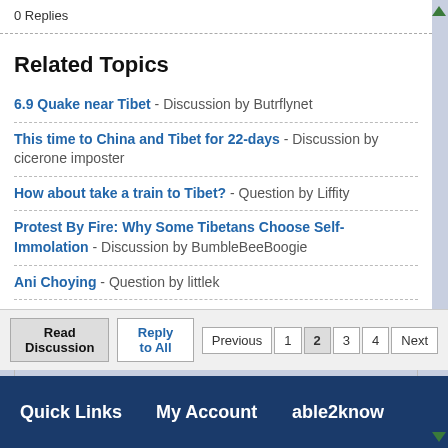0 Replies
Related Topics
6.9 Quake near Tibet - Discussion by Butrflynet
This time to China and Tibet for 22-days - Discussion by cicerone imposter
How about take a train to Tibet? - Question by Liffity
Protest By Fire: Why Some Tibetans Choose Self-Immolation - Discussion by BumbleBeeBoogie
Ani Choying - Question by littlek
Protestors in London - You make me SICK. - Discussion by pragmatic
Forums » FREE TIBET!!!!...and then what? » Page 2
Quick Links   My Account   able2know